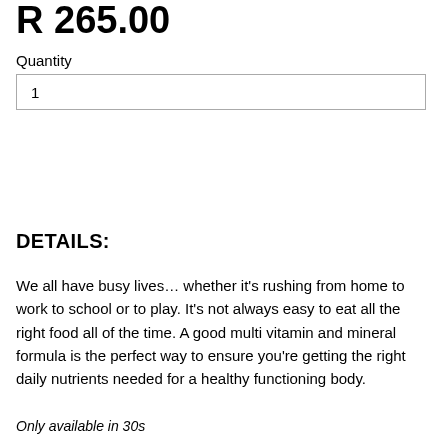R 265.00
Quantity
1
DETAILS:
We all have busy lives… whether it's rushing from home to work to school or to play. It's not always easy to eat all the right food all of the time. A good multi vitamin and mineral formula is the perfect way to ensure you're getting the right daily nutrients needed for a healthy functioning body.
Only available in 30s